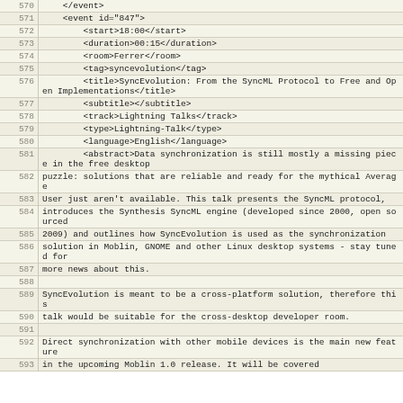Code viewer showing XML content lines 570-593 of an event schedule file containing a SyncEvolution Lightning Talk event entry with abstract about SyncML data synchronization.